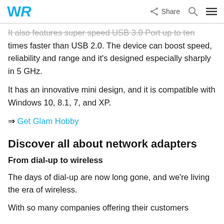WR  Share
It also features super speed USB 3.0 Port up to ten times faster than USB 2.0. The device can boost speed, reliability and range and it's designed especially sharply in 5 GHz.
It has an innovative mini design, and it is compatible with Windows 10, 8.1, 7, and XP.
⇒ Get Glam Hobby
Discover all about network adapters
From dial-up to wireless
The days of dial-up are now long gone, and we're living the era of wireless.
With so many companies offering their customers